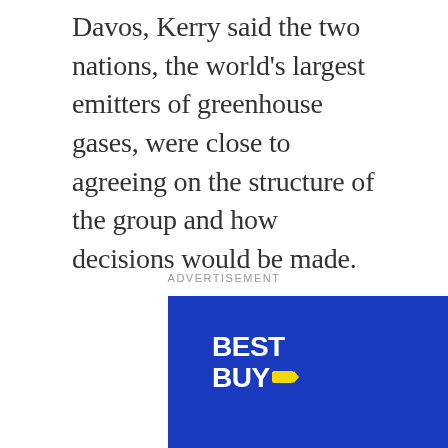Davos, Kerry said the two nations, the world's largest emitters of greenhouse gases, were close to agreeing on the structure of the group and how decisions would be made.
ADVERTISEMENT
[Figure (illustration): Best Buy Labour Day Sale advertisement banner with blue background, Best Buy logo in top left, dark blue accent rectangle on left side, and large white 'Labour' text followed by white 'Day' and yellow 'Sale' text]